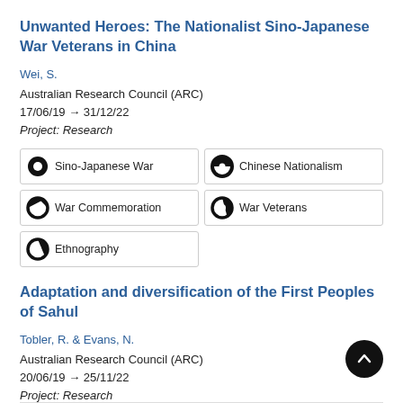Unwanted Heroes: The Nationalist Sino-Japanese War Veterans in China
Wei, S.
Australian Research Council (ARC)
17/06/19 → 31/12/22
Project: Research
Sino-Japanese War
Chinese Nationalism
War Commemoration
War Veterans
Ethnography
Adaptation and diversification of the First Peoples of Sahul
Tobler, R. & Evans, N.
Australian Research Council (ARC)
20/06/19 → 25/11/22
Project: Research